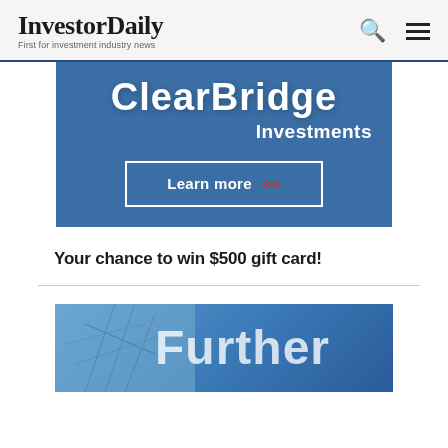InvestorDaily — First for investment industry news
[Figure (advertisement): ClearBridge Investments blue banner advertisement with 'Learn more' button and double chevron arrows]
Your chance to win $500 gift card!
[Figure (advertisement): Further - partial banner with blue background and winter tree branch imagery showing text 'Further']